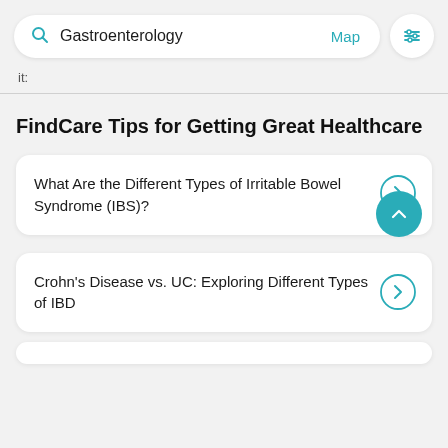[Figure (screenshot): Search bar UI with magnifying glass icon, text 'Gastroenterology', teal 'Map' link, and a filter icon button in a circle on the right]
it:
FindCare Tips for Getting Great Healthcare
What Are the Different Types of Irritable Bowel Syndrome (IBS)?
Crohn's Disease vs. UC: Exploring Different Types of IBD